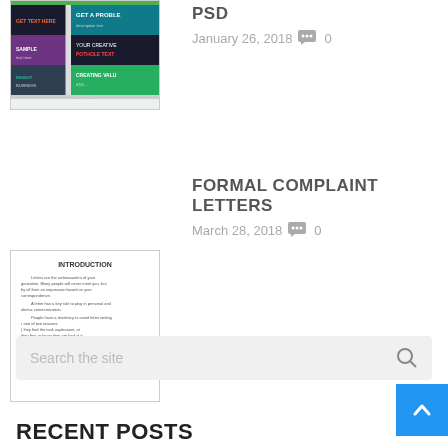[Figure (screenshot): Thumbnail screenshot of a website/template with colorful banner sections and sidebar]
PSD
January 26, 2018  💬 0
[Figure (screenshot): Thumbnail of a document page showing INTRODUCTION text with body paragraphs about letter writing]
FORMAL COMPLAINT LETTERS
March 28, 2018  💬 0
Search the site
RECENT POSTS